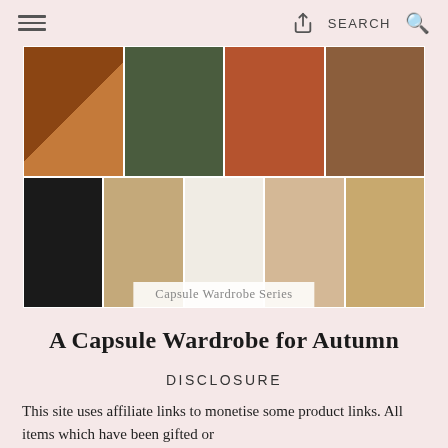≡   [share]   SEARCH 🔍
[Figure (photo): A collage of autumn fashion capsule wardrobe items arranged in two rows: Row 1 contains a brown leather jacket with a watch, an olive green pleated skirt, a tan structured handbag with scalloped detail, and brown leather heeled boots. Row 2 contains black skinny jeans, taupe/nude shorts, a cream chunky knit sweater, a beige button-up cardigan, and leopard-print flats. A semi-transparent white label reads 'Capsule Wardrobe Series' overlaid on the bottom center.]
A Capsule Wardrobe for Autumn
DISCLOSURE
This site uses affiliate links to monetise some product links. All items which have been gifted or